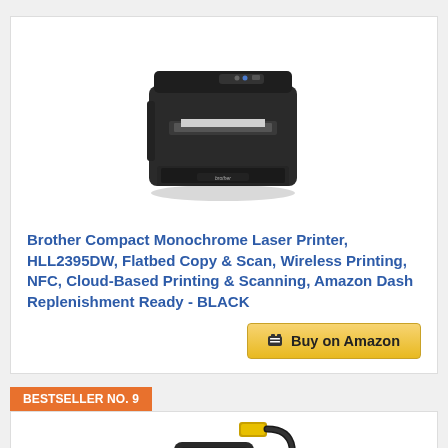[Figure (photo): Brother compact monochrome laser printer HLL2395DW in black, front/top view, shown against white background]
Brother Compact Monochrome Laser Printer, HLL2395DW, Flatbed Copy & Scan, Wireless Printing, NFC, Cloud-Based Printing & Scanning, Amazon Dash Replenishment Ready - BLACK
Buy on Amazon
BESTSELLER NO. 9
[Figure (photo): A USB cable or printer accessory cable shown from above against white background]